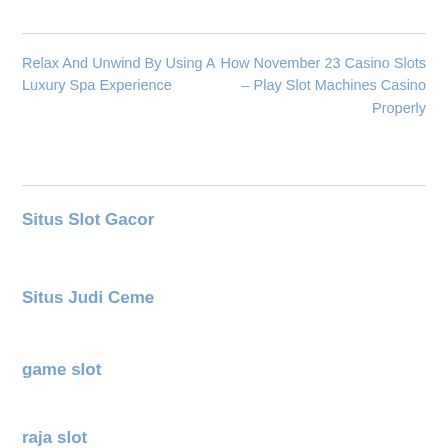Relax And Unwind By Using A Luxury Spa Experience
How November 23 Casino Slots – Play Slot Machines Casino Properly
Situs Slot Gacor
Situs Judi Ceme
game slot
raja slot